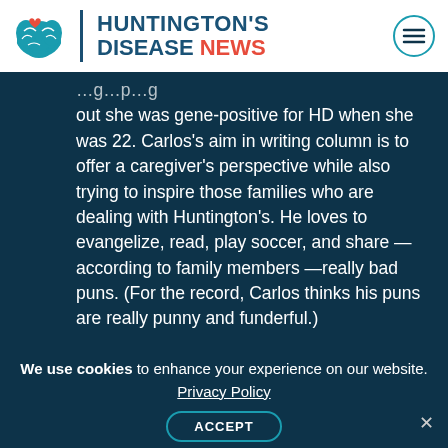Huntington's Disease News
out she was gene-positive for HD when she was 22. Carlos's aim in writing column is to offer a caregiver's perspective while also trying to inspire those families who are dealing with Huntington's. He loves to evangelize, read, play soccer, and share — according to family members —really bad puns. (For the record, Carlos thinks his puns are really punny and funderful.)
We use cookies to enhance your experience on our website.
Privacy Policy
ACCEPT